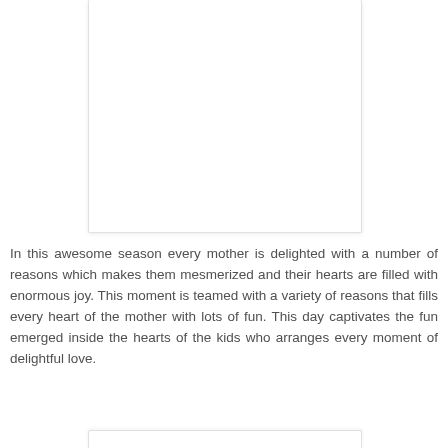[Figure (other): White rectangular image placeholder box with light border and shadow, top portion visible]
In this awesome season every mother is delighted with a number of reasons which makes them mesmerized and their hearts are filled with enormous joy. This moment is teamed with a variety of reasons that fills every heart of the mother with lots of fun. This day captivates the fun emerged inside the hearts of the kids who arranges every moment of delightful love.
[Figure (other): White rectangular image placeholder box with light border, bottom portion visible]